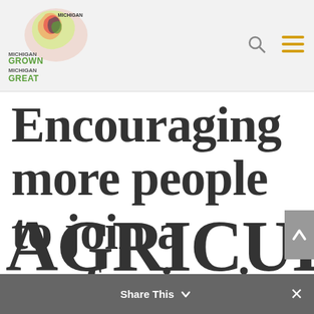Michigan Grown Michigan Great
Encouraging more people to join a profession in AGRICULTURE
Share This